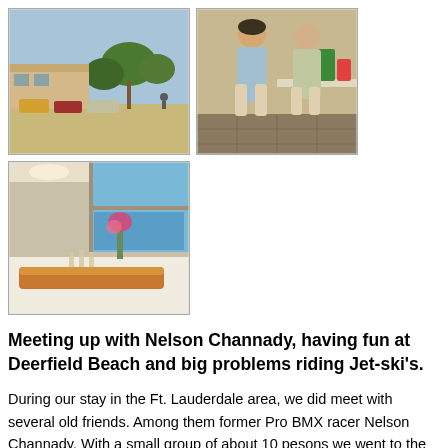[Figure (photo): Outdoor scene with parked cars along a street and trees/buildings in background, vintage photo]
[Figure (photo): Two people standing in a kitchen area, vintage photo]
[Figure (photo): Indoor scene showing a buffet table with food and a large window overlooking a pool area, vintage photo]
Meeting up with Nelson Channady, having fun at Deerfield Beach and big problems riding Jet-ski's.
During our stay in the Ft. Lauderdale area, we did meet with several old friends. Among them former Pro BMX racer Nelson Channady. With a small group of about 10 pesons we went to the beach in Deerfield Beach. We played some beachvolley-ball and relaxed on the beach. After that we all went to a small lake were Jet-ski's were available for rent. We rented 3